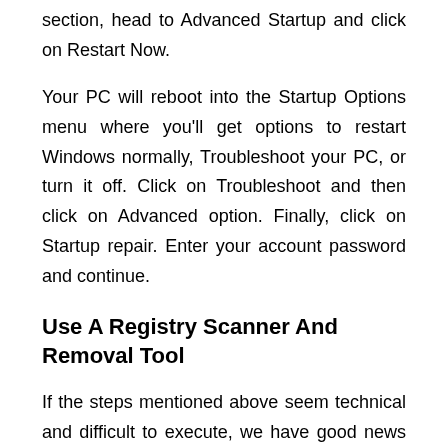section, head to Advanced Startup and click on Restart Now.
Your PC will reboot into the Startup Options menu where you'll get options to restart Windows normally, Troubleshoot your PC, or turn it off. Click on Troubleshoot and then click on Advanced option. Finally, click on Startup repair. Enter your account password and continue.
Use A Registry Scanner And Removal Tool
If the steps mentioned above seem technical and difficult to execute, we have good news for you. You can easily scan and repair broken registry items